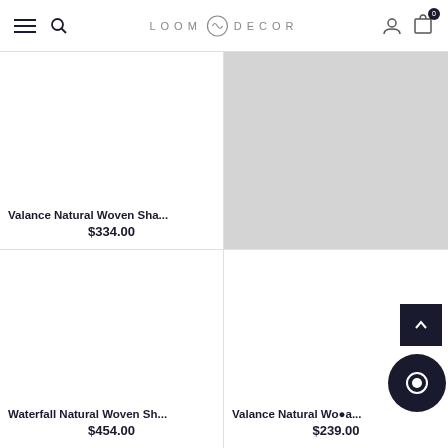LOOM DECOR — navigation bar with hamburger menu, search, logo, user icon, cart (0)
Valance Natural Woven Sha...
$334.00
[Figure (screenshot): Gray placeholder image for top-right product]
[Figure (screenshot): White/blank area for bottom-left product (Waterfall Natural Woven Sh...)]
Waterfall Natural Woven Sh...
$454.00
[Figure (screenshot): White/blank area for bottom-right product (Valance Natural Wo...a...)]
Valance Natural Wo...a...
$239.00